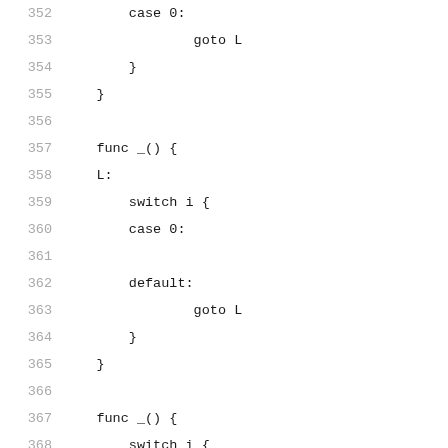352    case 0:
353            goto L
354        }
355    }
356
357    func _() {
358    L:
359        switch i {
360        case 0:
361
362        default:
363                goto L
364        }
365    }
366
367    func _() {
368        switch i {
369        case 0:
370
371        default:
372        L:
373            goto L